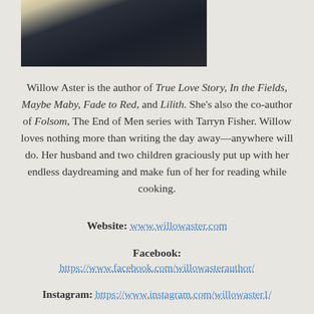[Figure (photo): Author photo showing a person in dark clothing, partially cropped at top of page]
Willow Aster is the author of True Love Story, In the Fields, Maybe Maby, Fade to Red, and Lilith. She's also the co-author of Folsom, The End of Men series with Tarryn Fisher. Willow loves nothing more than writing the day away—anywhere will do. Her husband and two children graciously put up with her endless daydreaming and make fun of her for reading while cooking.
Website: www.willowaster.com
Facebook: https://www.facebook.com/willowasterauthor/
Instagram: https://www.instagram.com/willowaster1/